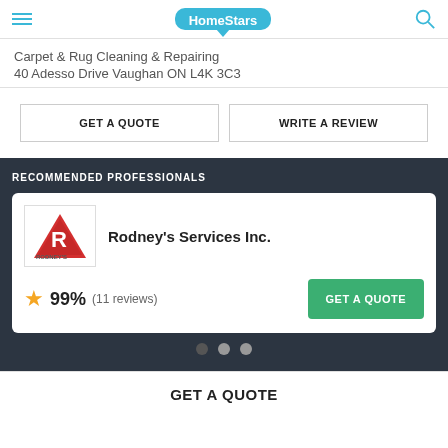HomeStars
Carpet & Rug Cleaning & Repairing
40 Adesso Drive Vaughan ON L4K 3C3
GET A QUOTE | WRITE A REVIEW
RECOMMENDED PROFESSIONALS
Rodney's Services Inc.
99% (11 reviews)
GET A QUOTE
GET A QUOTE